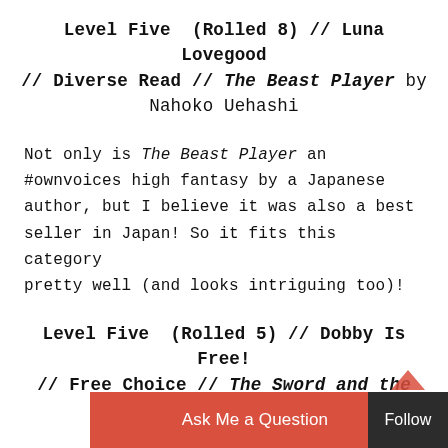Level Five (Rolled 8) // Luna Lovegood // Diverse Read // The Beast Player by Nahoko Uehashi
Not only is The Beast Player an #ownvoices high fantasy by a Japanese author, but I believe it was also a best seller in Japan! So it fits this category pretty well (and looks intriguing too)!
Level Five (Rolled 5) // Dobby Is Free! // Free Choice // The Sword and the Dagger by Robert Cochran